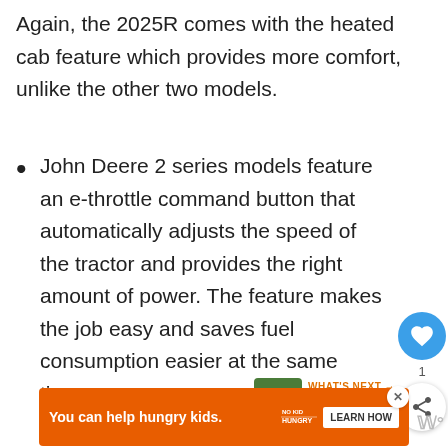Again, the 2025R comes with the heated cab feature which provides more comfort, unlike the other two models.
John Deere 2 series models feature an e-throttle command button that automatically adjusts the speed of the tractor and provides the right amount of power. The feature makes the job easy and saves fuel consumption easier at the same time.
[Figure (screenshot): UI overlay with heart/like button showing '1' count and a share button]
[Figure (screenshot): What's Next widget showing a thumbnail of a riding mower and text '10 Most Common...']
[Figure (screenshot): Advertisement banner in orange: 'You can help hungry kids.' with No Kid Hungry logo and 'LEARN HOW' button]